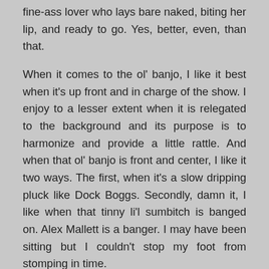fine-ass lover who lays bare naked, biting her lip, and ready to go. Yes, better, even, than that.
When it comes to the ol' banjo, I like it best when it's up front and in charge of the show. I enjoy to a lesser extent when it is relegated to the background and its purpose is to harmonize and provide a little rattle. And when that ol' banjo is front and center, I like it two ways. The first, when it's a slow dripping pluck like Dock Boggs. Secondly, damn it, I like when that tinny li'l sumbitch is banged on. Alex Mallett is a banger. I may have been sitting but I couldn't stop my foot from stomping in time.
Sammi, Alex's newly wedded wife, sang a couple of numbers with her man. It was a sweet noise, I can swear to you that. It was a sweet sight, and Andreea's photos